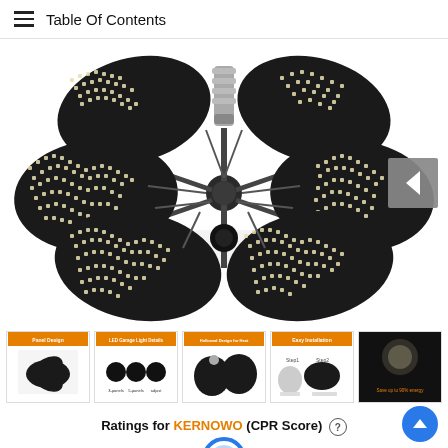Table Of Contents
[Figure (photo): LED garage ceiling light with five foldable hexagonal panels covered in small LED chips, mounted on a central E26/E27 screw base with a metal hub, photographed against a white background.]
[Figure (photo): Thumbnail strip showing five small product detail images: panel design diagram, LED garage light details infographic, hollowed design pattern for heat dissipation, easy installation steps, and a lit garage photo.]
Ratings for KERNOWO (CPR Score) ℹ
[Figure (other): Partial blue gear/badge icon at bottom center, partially visible.]